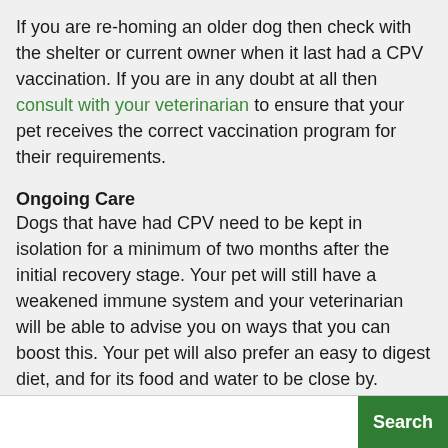If you are re-homing an older dog then check with the shelter or current owner when it last had a CPV vaccination. If you are in any doubt at all then consult with your veterinarian to ensure that your pet receives the correct vaccination program for their requirements.
Ongoing Care
Dogs that have had CPV need to be kept in isolation for a minimum of two months after the initial recovery stage. Your pet will still have a weakened immune system and your veterinarian will be able to advise you on ways that you can boost this. Your pet will also prefer an easy to digest diet, and for its food and water to be close by. Ensure that you regularly clean all of your dogs' equipment with non-toxic cleaner.
Unfortunately suffering from CPV does not leave your pet with immunity and there is no guarantee that it will not reoccur. Make sure your dog is vaccinated against CPV as soon as possible, and stick to a regular schedule.